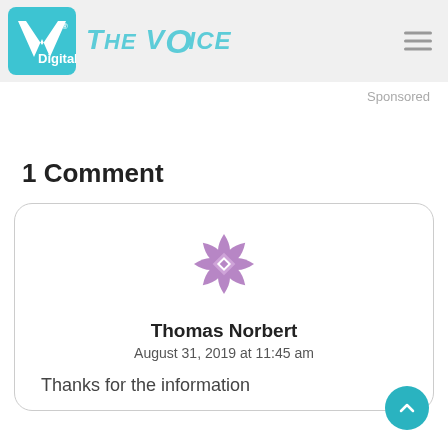VP Digital - The Voice
Sponsored
1 Comment
[Figure (illustration): Purple decorative geometric/floral avatar icon for user Thomas Norbert]
Thomas Norbert
August 31, 2019 at 11:45 am
Thanks for the information